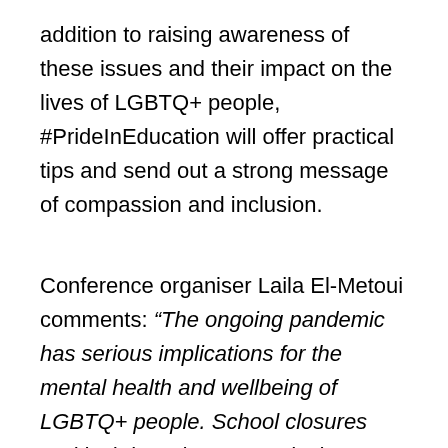addition to raising awareness of these issues and their impact on the lives of LGBTQ+ people, #PrideInEducation will offer practical tips and send out a strong message of compassion and inclusion.
Conference organiser Laila El-Metoui comments: “The ongoing pandemic has serious implications for the mental health and wellbeing of LGBTQ+ people. School closures and lockdown have negatively impacted on everyone but even more so on LGBTQ+ people trapped in homophobic and transphobic households. It is of the utmost